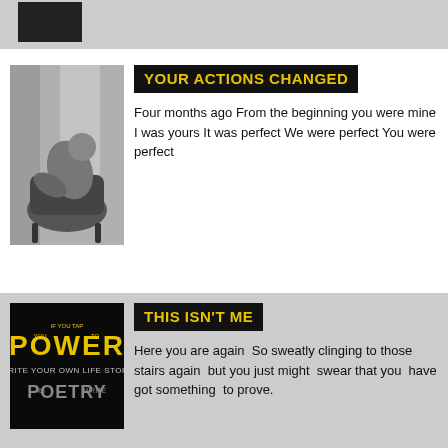[Figure (photo): Black rectangle placeholder image in top gray bar]
[Figure (photo): Black and white photo of a person sitting curled up in a chair near a window]
YOUR ACTIONS CHANGED
Four months ago From the beginning you were mine I was yours It was perfect We were perfect You were perfect
[Figure (photo): Black background book/poster cover with yellow text reading POWER and WRITE YOUR OWN LIFE STORY and POETRY]
THIS ISN'T ME
Here you are again  So sweatly clinging to those stairs again  but you just might  swear that you  have got something  to prove.